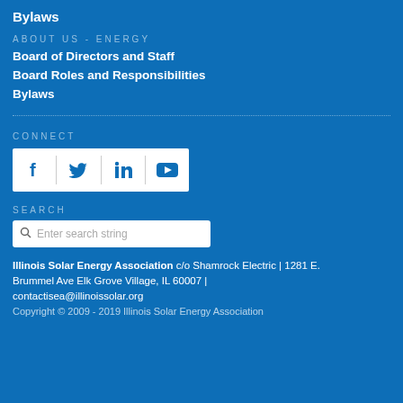Bylaws
ABOUT US - ENERGY
Board of Directors and Staff
Board Roles and Responsibilities
Bylaws
CONNECT
[Figure (other): Social media icons row: Facebook, Twitter, LinkedIn, YouTube in a white box]
SEARCH
[Figure (other): Search input bar with placeholder text 'Enter search string']
Illinois Solar Energy Association c/o Shamrock Electric | 1281 E. Brummel Ave Elk Grove Village, IL 60007 | contactisea@illinoissolar.org
Copyright © 2009 - 2019 Illinois Solar Energy Association